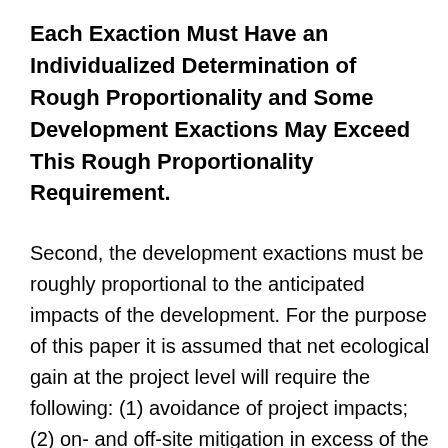Each Exaction Must Have an Individualized Determination of Rough Proportionality and Some Development Exactions May Exceed This Rough Proportionality Requirement.
Second, the development exactions must be roughly proportional to the anticipated impacts of the development. For the purpose of this paper it is assumed that net ecological gain at the project level will require the following: (1) avoidance of project impacts; (2) on- and off-site mitigation in excess of the project's impacts; and (3) mandatory